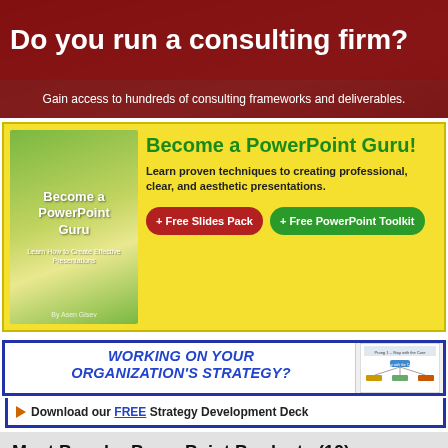[Figure (photo): Dark banner with photo of people in a meeting/consulting setting. Red overlay with white text headline and subheading.]
Do you run a consulting firm?
Gain access to hundreds of consulting frameworks and deliverables.
[Figure (infographic): Yellow advertisement banner for 'Become a PowerPoint Guru!' book with green book cover image, heading, descriptive text, and two buttons: '+ Free Slides Pack' (red) and '+ Free PowerPoint Toolkit' (green).]
[Figure (infographic): White advertisement with blue border for 'Working on Your Organization's Strategy?' with a call to action 'Download our FREE Strategy Development Deck' and a diagram image on the right.]
Most Popular PowerPoint Products (10)
Browse our full library of PowerPoint products. Please use the links at the top to navigate through the various sections of our PowerPoint Products library. All of our products are created by management consultants for the purpose of executive business presentations.